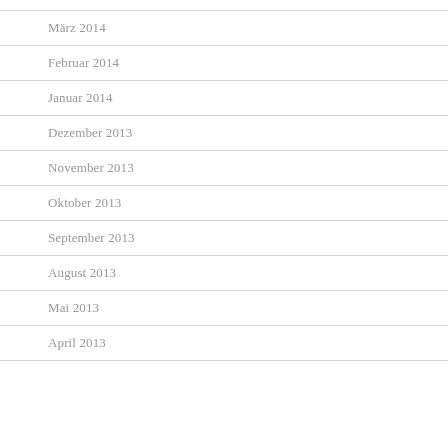März 2014
Februar 2014
Januar 2014
Dezember 2013
November 2013
Oktober 2013
September 2013
August 2013
Mai 2013
April 2013